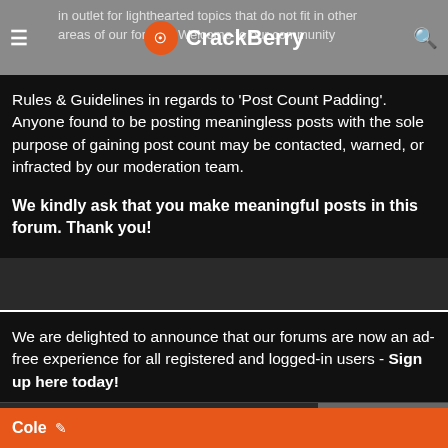in outlet for lighthearted topics that do not fit in other areas of our forums. Welcome to our community
Rules & Guidelines in regards to 'Post Count Padding'. Anyone found to be posting meaningless posts with the sole purpose of gaining post count may be contacted, warned, or infracted by our moderation team.
We kindly ask that you make meaningful posts in this forum. Thank you!
We are delighted to announce that our forums are now an ad-free experience for all registered and logged-in users - Sign up here today!
05-23-08 10:40 AM
TOOLS
Cole